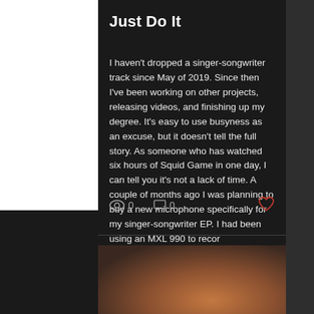Just Do It
I haven't dropped a singer-songwriter track since May of 2019. Since then I've been working on other projects, releasing videos, and finishing up my degree. It's easy to use busyness as an excuse, but it doesn't tell the full story. As someone who has watched six hours of Squid Game in one day, I can tell you it's not a lack of time. A couple of months ago I was planning to buy a new microphone specifically for my singer-songwriter EP. I had been using an MXL 990 to recor
0  0
[Figure (photo): Partial view of a blurred photo showing what appears to be a person's arm or leg and a wooden instrument or object, with warm brown tones.]